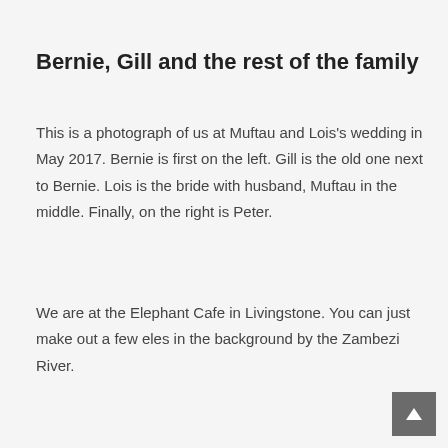Bernie, Gill and the rest of the family
This is a photograph of us at Muftau and Lois's wedding in May 2017.  Bernie is first on the left.  Gill is the old one next to Bernie.  Lois is the bride with husband, Muftau in the middle.  Finally, on the right is Peter.
We are at the Elephant Cafe in Livingstone.  You can just make out a few eles in the background by the Zambezi River.